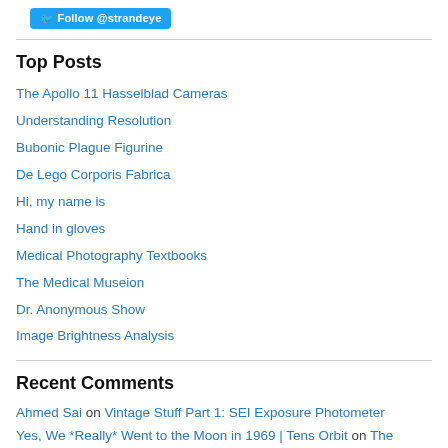[Figure (other): Twitter Follow button for @strandeye]
Top Posts
The Apollo 11 Hasselblad Cameras
Understanding Resolution
Bubonic Plague Figurine
De Lego Corporis Fabrica
Hi, my name is
Hand in gloves
Medical Photography Textbooks
The Medical Museion
Dr. Anonymous Show
Image Brightness Analysis
Recent Comments
Ahmed Sai on Vintage Stuff Part 1: SEI Exposure Photometer
Yes, We *Really* Went to the Moon in 1969 | Tens Orbit on The Apollo